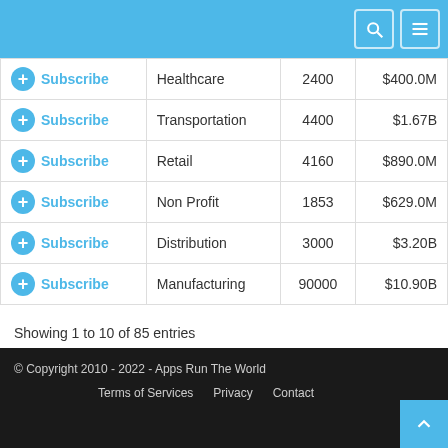|  | Industry | Employees | Revenue |
| --- | --- | --- | --- |
| Subscribe | Healthcare | 2400 | $400.0M |
| Subscribe | Transportation | 4400 | $1.67B |
| Subscribe | Retail | 4160 | $890.0M |
| Subscribe | Non Profit | 1853 | $629.0M |
| Subscribe | Distribution | 3000 | $3.20B |
| Subscribe | Manufacturing | 90000 | $10.90B |
Showing 1 to 10 of 85 entries
© Copyright 2010 - 2022 - Apps Run The World   Terms of Services   Privacy   Contact